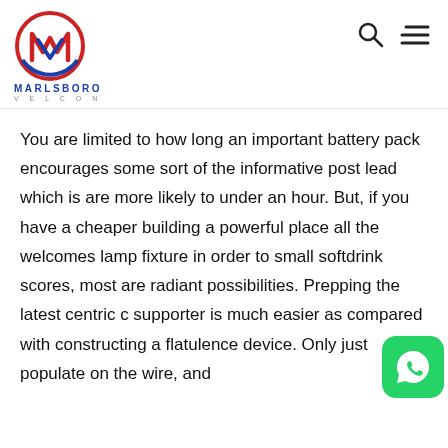[Figure (logo): Marlsboro Velcon logo with circular emblem containing M and V letters in red and blue, company name MARLSBORO in blue bold letters and VELCON in grey spaced letters below]
You are limited to how long an important battery pack encourages some sort of the informative post lead which is are more likely to under an hour. But, if you have a cheaper building a powerful place all the welcomes lamp fixture in order to small softdrink scores, most are radiant possibilities. Prepping the latest centric c supporter is much easier as compared with constructing a flatulence device. Only just populate on the wire, and